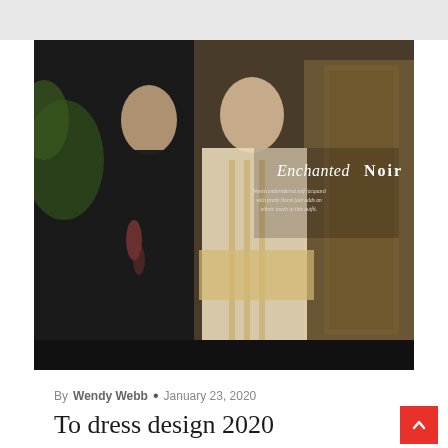[Figure (photo): Fashion photo showing two women in ethnic wear against a decorated background. Text overlay reads 'Enchanted Noir' with subtitle: 'Woven embroidered self jacquard with pretty floral jaal adds an ethnic touch to this outfit.']
By Wendy Webb • January 23, 2020
To dress design 2020